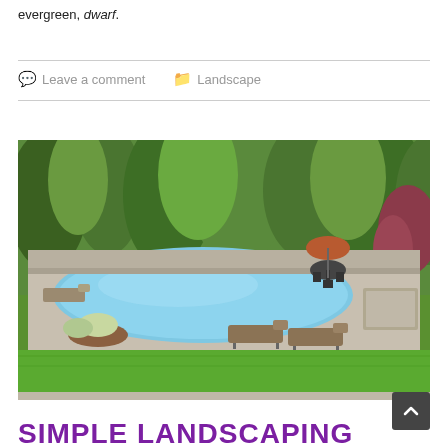evergreen, dwarf.
Leave a comment   Landscape
[Figure (photo): Outdoor swimming pool with stone surround, lounge chairs, patio dining set with umbrella, green lawn and trees in background.]
SIMPLE LANDSCAPING